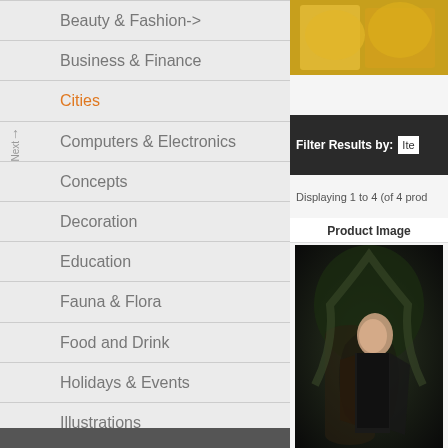Beauty & Fashion->
Business & Finance
Cities
Computers & Electronics
Concepts
Decoration
Education
Fauna & Flora
Food and Drink
Holidays & Events
Illustrations
Industrial
Interiors
[Figure (photo): Yellow/orange image at top right, possibly fruit or flowers]
Filter Results by:
Displaying 1 to 4 (of 4 prod...
Product Image
[Figure (photo): Fashion photo of a woman in a black dress posed against a stone arch with foliage]